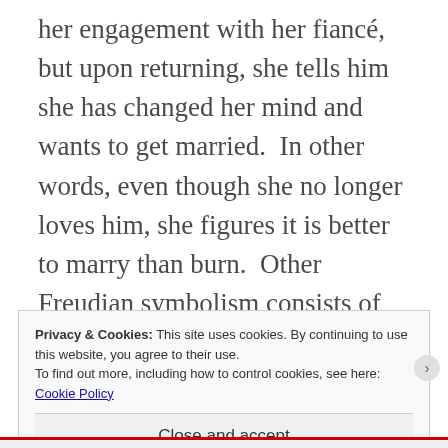her engagement with her fiancé, but upon returning, she tells him she has changed her mind and wants to get married.  In other words, even though she no longer loves him, she figures it is better to marry than burn.  Other Freudian symbolism consists of Aziz having a fever and the sweltering heat of the sun, all of which are suggestive of sexual passion.
Privacy & Cookies: This site uses cookies. By continuing to use this website, you agree to their use.
To find out more, including how to control cookies, see here: Cookie Policy
Close and accept